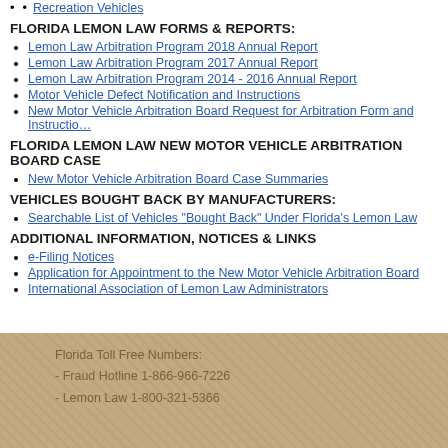Recreation Vehicles
FLORIDA LEMON LAW FORMS & REPORTS:
Lemon Law Arbitration Program 2018 Annual Report
Lemon Law Arbitration Program 2017 Annual Report
Lemon Law Arbitration Program 2014 - 2016 Annual Report
Motor Vehicle Defect Notification and Instructions
New Motor Vehicle Arbitration Board Request for Arbitration Form and Instructions
FLORIDA LEMON LAW NEW MOTOR VEHICLE ARBITRATION BOARD CASE
New Motor Vehicle Arbitration Board Case Summaries
VEHICLES BOUGHT BACK BY MANUFACTURERS:
Searchable List of Vehicles "Bought Back" Under Florida's Lemon Law
ADDITIONAL INFORMATION, NOTICES & LINKS
e-Filing Notices
Application for Appointment to the New Motor Vehicle Arbitration Board
International Association of Lemon Law Administrators
Florida Toll Free Numbers:
- Fraud Hotline 1-866-966-7226
- Lemon Law 1-800-321-5366